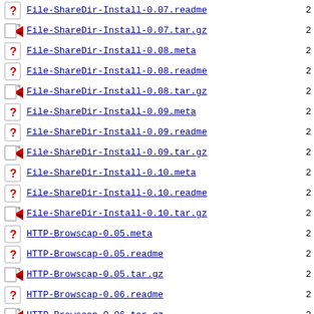File-ShareDir-Install-0.07.readme
File-ShareDir-Install-0.07.tar.gz
File-ShareDir-Install-0.08.meta
File-ShareDir-Install-0.08.readme
File-ShareDir-Install-0.08.tar.gz
File-ShareDir-Install-0.09.meta
File-ShareDir-Install-0.09.readme
File-ShareDir-Install-0.09.tar.gz
File-ShareDir-Install-0.10.meta
File-ShareDir-Install-0.10.readme
File-ShareDir-Install-0.10.tar.gz
HTTP-Browscap-0.05.meta
HTTP-Browscap-0.05.readme
HTTP-Browscap-0.05.tar.gz
HTTP-Browscap-0.06.readme
HTTP-Browscap-0.06.tar.gz
IPC-ForkPipe-0.01.meta
IPC-ForkPipe-0.01.readme